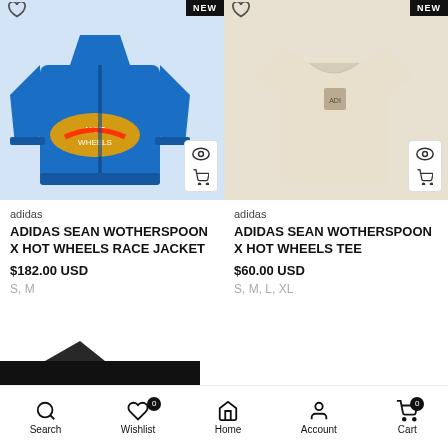[Figure (photo): Blue Adidas x Hot Wheels race jacket with Hot Wheels logo on the front, multiple patches, on a white background. NEW badge in top right corner.]
[Figure (photo): Beige/cream Adidas Sean Wotherspoon x Hot Wheels tee with small chest graphic, on a beige background. NEW badge in top right corner.]
adidas
ADIDAS SEAN WOTHERSPOON X HOT WHEELS RACE JACKET
$182.00 USD
S, M
adidas
ADIDAS SEAN WOTHERSPOON X HOT WHEELS TEE
$60.00 USD
S, M, L, XL
[Figure (logo): Partial dark logo visible at bottom left, partially cut off]
Search  Wishlist 0  Home  Account  Cart 0